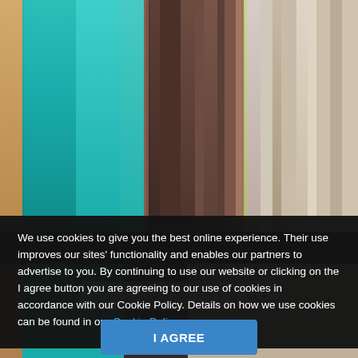[Figure (photo): Abstract vertical color stripes image showing teal, brown, tan, and gray blurred vertical bands]
We use cookies to give you the best online experience. Their use improves our sites' functionality and enables our partners to advertise to you. By continuing to use our website or clicking on the I agree button you are agreeing to our use of cookies in accordance with our Cookie Policy. Details on how we use cookies can be found in our Cookie Policy
I AGREE